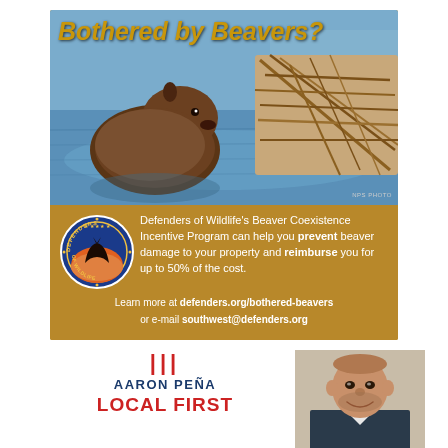[Figure (photo): Advertisement photo of a beaver in water next to a stick dam/lodge, with title 'Bothered by Beavers?' overlaid. Defenders of Wildlife Beaver Coexistence Incentive Program ad with logo and contact information.]
Defenders of Wildlife's Beaver Coexistence Incentive Program can help you prevent beaver damage to your property and reimburse you for up to 50% of the cost.
Learn more at defenders.org/bothered-beavers or e-mail southwest@defenders.org
[Figure (photo): Headshot photo of Aaron Peña, a man with a shaved head and short beard, smiling, wearing a suit.]
III
AARON PEÑA
LOCAL FIRST